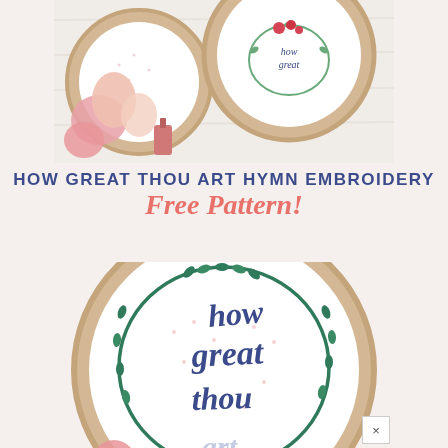[Figure (photo): Top photo showing embroidery hoops with floral lettering designs, pink and white flowers, and a pink nail polish bottle on a white wooden surface.]
HOW GREAT THOU ART HYMN EMBROIDERY Free Pattern!
[Figure (photo): Close-up photo of an embroidery hoop showing hand-lettered 'how great thou art' text in navy blue script surrounded by a green leafy wreath on white fabric with pink dot details.]